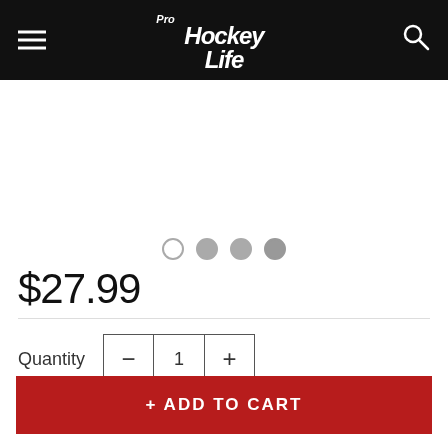[Figure (logo): Pro Hockey Life logo in white italic text on black header bar, with hamburger menu icon on left and search icon on right]
[Figure (other): Product image area (white/blank) with four dot pagination indicators below]
$27.99
Quantity  -  1  +
+ ADD TO CART